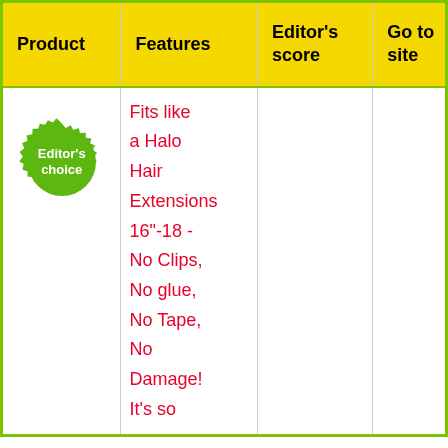| Product | Features | Editor's score | Go to site |
| --- | --- | --- | --- |
| [Editor's choice badge] | Fits like a Halo Hair Extensions 16"-18 - No Clips, No glue, No Tape, No Damage! It's so |  |  |